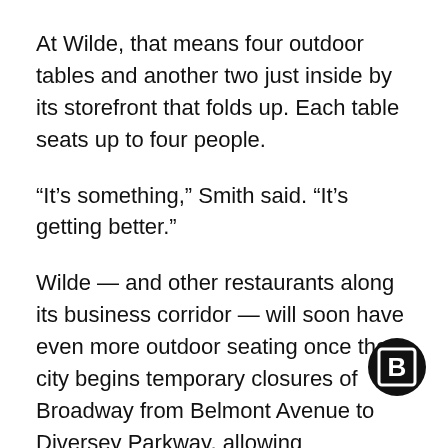At Wilde, that means four outdoor tables and another two just inside by its storefront that folds up. Each table seats up to four people.
“It’s something,” Smith said. “It’s getting better.”
Wilde — and other restaurants along its business corridor — will soon have even more outdoor seating once the city begins temporary closures of Broadway from Belmont Avenue to Diversey Parkway, allowing restaurants to spread tables out in the street.
The stretch of Broadway is one of six commercial corridors included in the city’s pilot program, which began Wednesday. Broadway from Belmont Avenue to Diversey Parkway will periodically close
[Figure (logo): Block Club Chicago logo: black circle with white 'B' inside a white square border]